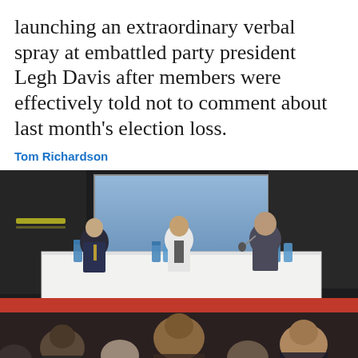launching an extraordinary verbal spray at embattled party president Legh Davis after members were effectively told not to comment about last month's election loss.
Tom Richardson
[Figure (photo): A panel of three people seated at a white-cloth-covered table on a stage in a dark auditorium. Left to right: a man in a suit with a yellow tie (senator Simon Birmingham), a woman in a white jacket with dark top (state director Sascha Meldrum), and an older man in a suit speaking into a microphone (president Legh). Water bottles on the table. Audience heads visible in the foreground.]
A Liberal delegate confronts the party's leadership on stage (L-R senator Simon Birmingham, state director Sascha Meldrum and president Legh